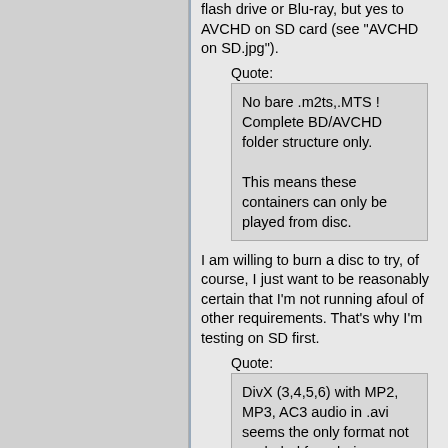flash drive or Blu-ray, but yes to AVCHD on SD card (see "AVCHD on SD.jpg").
Quote:
No bare .m2ts,.MTS ! Complete BD/AVCHD folder structure only.

This means these containers can only be played from disc.
I am willing to burn a disc to try, of course, I just want to be reasonably certain that I'm not running afoul of other requirements. That's why I'm testing on SD first.
Quote:
DivX (3,4,5,6) with MP2, MP3, AC3 audio in .avi seems the only format not excluded from being played from stick.
For the 808, partly true ("808-DivX.png"). The 809 is DivX-certified in some regions ("DivX-Certified.png", "809-809-Divx.png", "809-809-